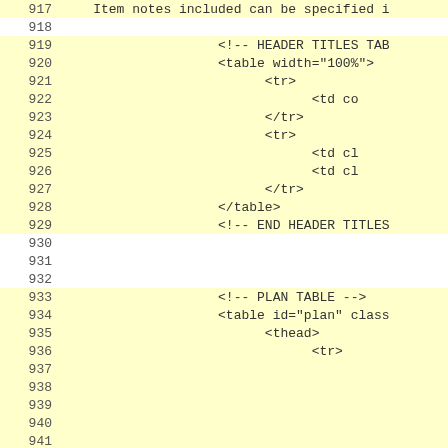Code listing lines 917-942 showing HTML template code with header titles table and plan table sections